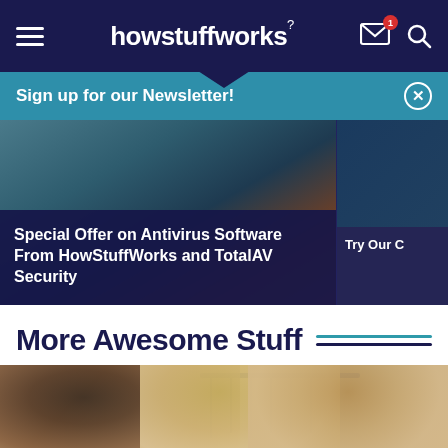howstuffworks
Sign up for our Newsletter!
[Figure (photo): Partial view of a person wearing teal/dark clothing, top portion of a promotional card image]
Special Offer on Antivirus Software From HowStuffWorks and TotalAV Security
Try Our C
More Awesome Stuff
[Figure (photo): Three young women laughing and smiling in what appears to be a clothing store with a rack of clothes in the background]